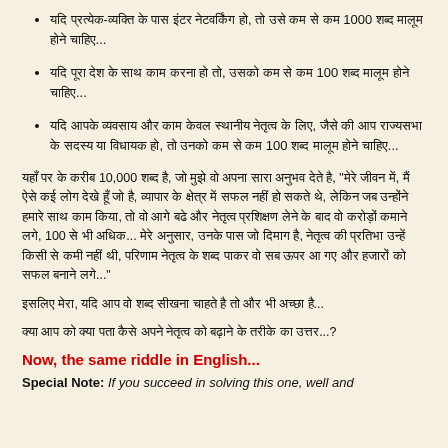यदि प्रत्येक-व्यक्ति के पास इंटर नेटवर्किंग हो, तोउसे कम से कम 1000 शब्द मालूम होने चाहिए...
यदि पूरा देश के साथ काम करना हो तो, उसको कम से कम 100 शब्द मालूम होने चाहिए...
यदि आपके व्यवसाय और काम केवल स्थानीय नेतृत्व के लिए, जैसे की आप राज्यसभा के सदस्य या विधायक हो, तो उनको कम से कम 100 शब्द मालूम होने चाहिए...
यहाँ पर के करीब 10,000 शब्द है, जो मुझे वो अपना सारा अनुभव देते है, "मेरे जीवन में, मैं ऐसे कई लोग देखे हूँ जो है, व्यापार के क्षेत्र में सफल नहीं हो सकते थे, लेकिन जब उन्होंने हमारे साथ काम किया, तो वो आगे बढे और नेतृत्व प्रशिक्षण लेने के बाद वो करोड़ों कमाने लगे, 100 से भी अधिक... मेरे अनुसार, उनके पास जो दिमाग है, नेतृत्व की प्रतिभा उन्हें किसी से कमी नहीं थी, परिणाम नेतृत्व के शब्द पाकर वो सब ऊपर आ गए और हजारों को सफल बनाने लगे..."
इसलिए मेरा, यदि आप वो शब्द सीखना चाहते है तो और भी अच्छा है...
क्या आप को क्या पता कैसे अपने नेतृत्व को बढ़ाने के तरीके का उत्तर...?
Now, the same riddle in English...
Special Note: If you succeed in solving this one, well and